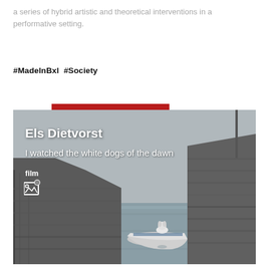a series of hybrid artistic and theoretical interventions in a performative setting.
#MadeInBxl  #Society
[Figure (photo): Harbor scene with stone walls on both sides, a small boat with a white dog standing in it, calm grey water, overcast sky. Overlaid text reads 'Els Dietvorst', 'I watched the white dogs of the dawn', 'film', and a gallery icon. A dark red horizontal bar appears at the top of the image area.]